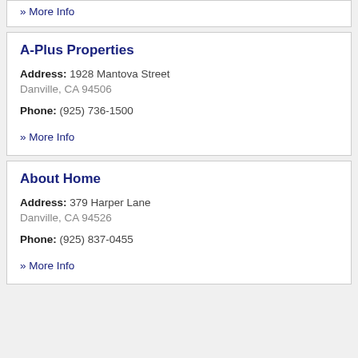» More Info
A-Plus Properties
Address: 1928 Mantova Street
Danville, CA 94506
Phone: (925) 736-1500
» More Info
About Home
Address: 379 Harper Lane
Danville, CA 94526
Phone: (925) 837-0455
» More Info